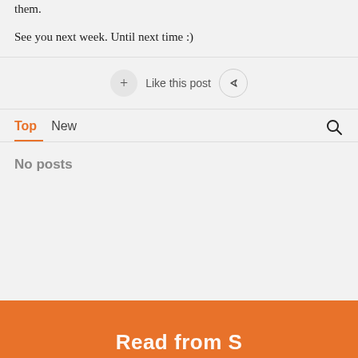them.
See you next week. Until next time :)
[Figure (other): Action bar with a '+' like button, 'Like this post' label, and a share button (arrow icon)]
Top   New
No posts
Read from S...